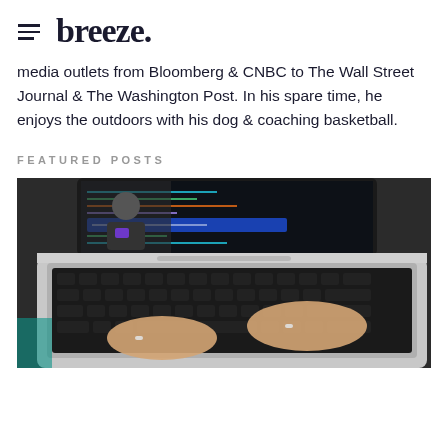breeze.
media outlets from Bloomberg & CNBC to The Wall Street Journal & The Washington Post. In his spare time, he enjoys the outdoors with his dog & coaching basketball.
FEATURED POSTS
[Figure (photo): Person typing on a MacBook laptop with code visible on the screen; another person visible on the laptop screen in the background.]